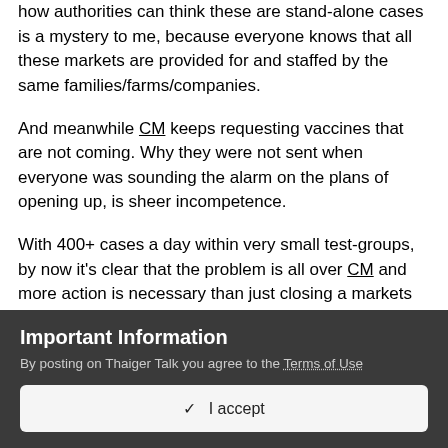how authorities can think these are stand-alone cases is a mystery to me, because everyone knows that all these markets are provided for and staffed by the same families/farms/companies.
And meanwhile CM keeps requesting vaccines that are not coming. Why they were not sent when everyone was sounding the alarm on the plans of opening up, is sheer incompetence.
With 400+ cases a day within very small test-groups, by now it's clear that the problem is all over CM and more action is necessary than just closing a markets and begging for some vials.
Important Information
By posting on Thaiger Talk you agree to the Terms of Use
✓  I accept